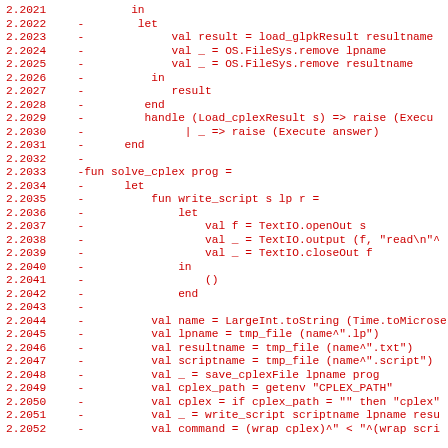Code diff showing SML source lines 2.2021-2.2052 with removed lines marked by '-'